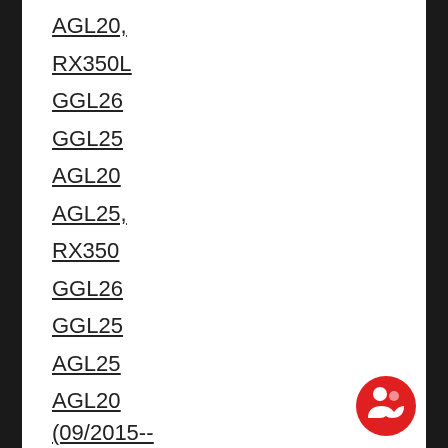AGL20,
RX350L
GGL26
GGL25
AGL20
AGL25,
RX350
GGL26
GGL25
AGL25
AGL20 (09/2015-- >) ( HTML version )
LEXUS EN RX350 AGL10